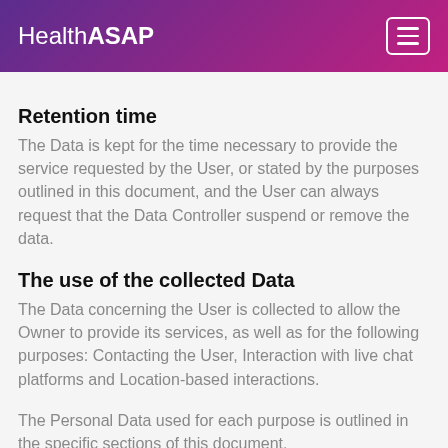HealthASAP
Retention time
The Data is kept for the time necessary to provide the service requested by the User, or stated by the purposes outlined in this document, and the User can always request that the Data Controller suspend or remove the data.
The use of the collected Data
The Data concerning the User is collected to allow the Owner to provide its services, as well as for the following purposes: Contacting the User, Interaction with live chat platforms and Location-based interactions.
The Personal Data used for each purpose is outlined in the specific sections of this document.